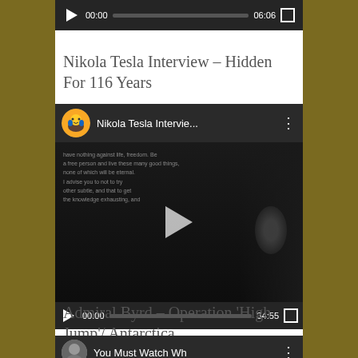[Figure (screenshot): Video player showing top portion with play button, 00:00 timestamp, progress bar, 06:06 duration, and fullscreen button on dark background]
Nikola Tesla Interview – Hidden For 116 Years
[Figure (screenshot): YouTube embedded video player for Nikola Tesla Interview with cartoon avatar, video title 'Nikola Tesla Intervie...', overlay text, center play button, controls showing 00:00 and 34:55]
Admiral Byrd – Operation ‘High Jump’/ Antarctica
[Figure (screenshot): Partial YouTube video player at bottom showing avatar, title 'You Must Watch Wh' and three-dot menu icon]